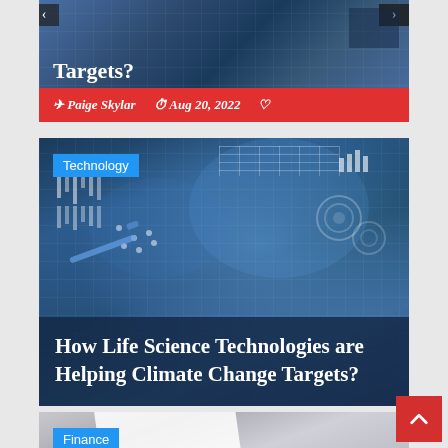[Figure (photo): Partially visible top card showing a tech/science article with navigation arrows, title 'Targets?' in white, and a red metadata bar with author 'Paige Skylar', date 'Aug 20, 2022', and a heart icon]
Paige Skylar  Aug 20, 2022
[Figure (photo): Article card with technology category tag, background photo of person with futuristic digital overlay, bottom dark overlay with white title text]
How Life Science Technologies are Helping Climate Change Targets?
[Figure (photo): Partially visible bottom card with Finance category tag, light grey background showing blurred figure in business attire]